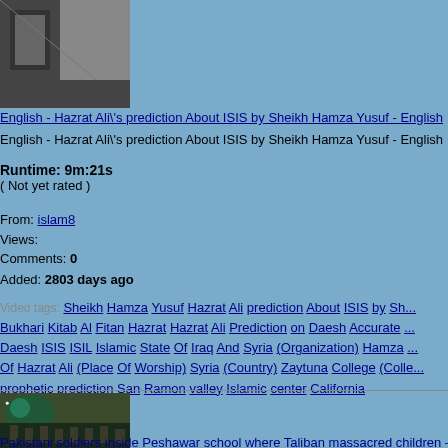[Figure (photo): Grayscale thumbnail image, top-left corner]
English - Hazrat Ali\'s prediction About ISIS by Sheikh Hamza Yusuf - English
English - Hazrat Ali\'s prediction About ISIS by Sheikh Hamza Yusuf - English
Runtime: 9m:21s
( Not yet rated )
From: islam8
Views:
Comments: 0
Added: 2803 days ago
Video tags: Sheikh Hamza Yusuf Hazrat Ali prediction About ISIS by Sh... Bukhari Kitab Al Fitan Hazrat Hazrat Ali Prediction on Daesh Accurate ... Daesh ISIS ISIL Islamic State Of Iraq And Syria (Organization) Hamza ... Of Hazrat Ali (Place Of Worship) Syria (Country) Zaytuna College (Colle... prophetic prediction San Ramon valley Islamic center California
[Figure (photo): Color thumbnail of people in a large hall, possibly a mosque or school]
Pakistani soldiers inside Peshawar school where Taliban massacred children –